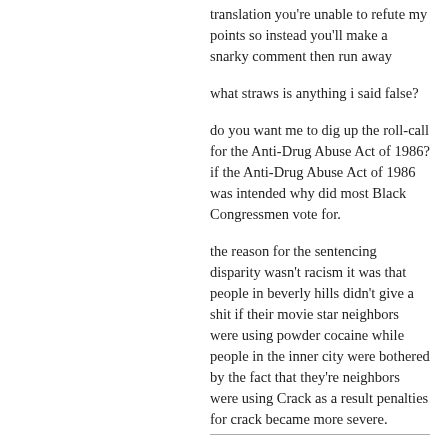translation you're unable to refute my points so instead you'll make a snarky comment then run away
what straws is anything i said false?
do you want me to dig up the roll-call for the Anti-Drug Abuse Act of 1986? if the Anti-Drug Abuse Act of 1986 was intended why did most Black Congressmen vote for.
the reason for the sentencing disparity wasn't racism it was that people in beverly hills didn't give a shit if their movie star neighbors were using powder cocaine while people in the inner city were bothered by the fact that they're neighbors were using Crack as a result penalties for crack became more severe.